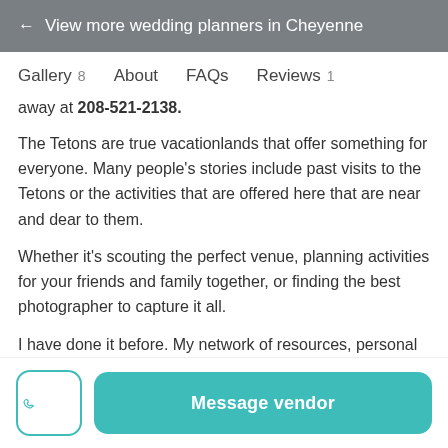← View more wedding planners in Cheyenne
Gallery 8   About   FAQs   Reviews 1
away at 208-521-2138.
The Tetons are true vacationlands that offer something for everyone. Many people's stories include past visits to the Tetons or the activities that are offered here that are near and dear to them.
Whether it's scouting the perfect venue, planning activities for your friends and family together, or finding the best photographer to capture it all.
I have done it before. My network of resources, personal attention for customized details, and passion for events